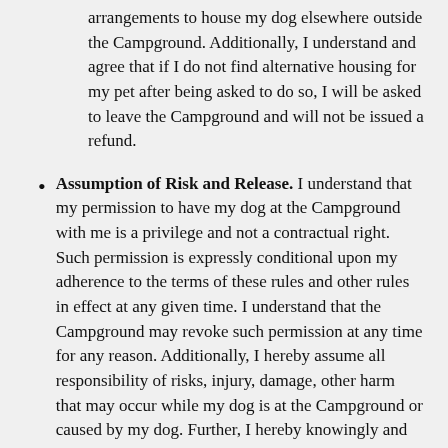arrangements to house my dog elsewhere outside the Campground. Additionally, I understand and agree that if I do not find alternative housing for my pet after being asked to do so, I will be asked to leave the Campground and will not be issued a refund.
Assumption of Risk and Release. I understand that my permission to have my dog at the Campground with me is a privilege and not a contractual right. Such permission is expressly conditional upon my adherence to the terms of these rules and other rules in effect at any given time. I understand that the Campground may revoke such permission at any time for any reason. Additionally, I hereby assume all responsibility of risks, injury, damage, other harm that may occur while my dog is at the Campground or caused by my dog. Further, I hereby knowingly and voluntarily expressly release and discharge the